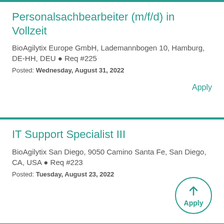Personalsachbearbeiter (m/f/d) in Vollzeit
BioAgilytix Europe GmbH, Lademannbogen 10, Hamburg, DE-HH, DEU • Req #225
Posted: Wednesday, August 31, 2022
Apply
IT Support Specialist III
BioAgilytix San Diego, 9050 Camino Santa Fe, San Diego, CA, USA • Req #223
Posted: Tuesday, August 23, 2022
Apply
Associate Project Manager for Project Management Office